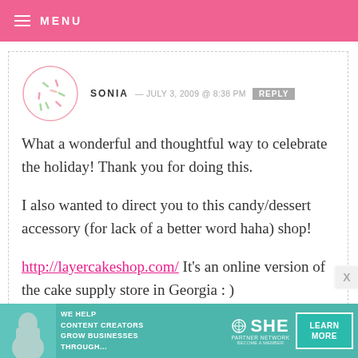MENU
SONIA — JULY 3, 2009 @ 8:38 PM  REPLY
What a wonderful and thoughtful way to celebrate the holiday! Thank you for doing this.

I also wanted to direct you to this candy/dessert accessory (for lack of a better word haha) shop!

http://layercakeshop.com/ It's an online version of the cake supply store in Georgia : )
[Figure (infographic): SHE Media Partner Network advertisement banner with woman photo, text 'We help content creators grow businesses through...', SHE logo, and 'Learn More' button]